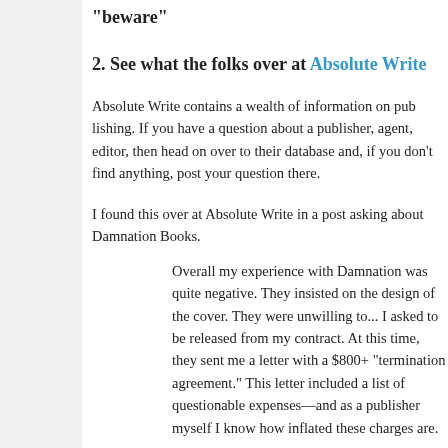"beware"
2. See what the folks over at Absolute Write
Absolute Write contains a wealth of information on pub... question about a publisher, agent, editor, then head on... database and, if you don't find anything, post your que...
I found this over at Absolute Write in a post asking abo...
Overall my experience with Damnation was quite... on the design of the cover. They were unwilling t... released from my contract. At this time, they sen... $800+ "termination agreement." This letter includ... expenses—and as a publisher myself I know ho... these charges are.
Further, there was no mention of a termination fe... signed. . . . When I refused to pay the fee, Kim G... paid it they would go on and publish the book w...